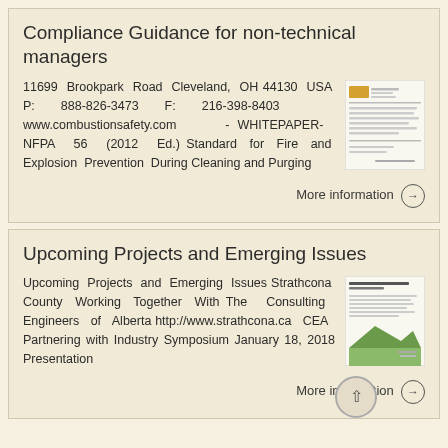Compliance Guidance for non-technical managers
11699 Brookpark Road Cleveland, OH 44130 USA P: 888-826-3473 F: 216-398-8403 www.combustionsafety.com - WHITEPAPER- NFPA 56 (2012 Ed.) Standard for Fire and Explosion Prevention During Cleaning and Purging
More information →
Upcoming Projects and Emerging Issues
Upcoming Projects and Emerging Issues Strathcona County Working Together With The Consulting Engineers of Alberta http://www.strathcona.ca CEA Partnering with Industry Symposium January 18, 2018 Presentation
More information →